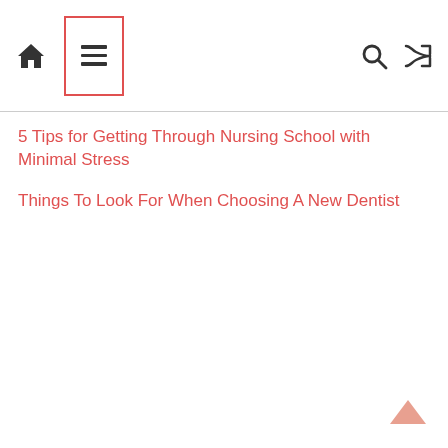Navigation bar with home icon, menu icon (hamburger in red box), search icon, shuffle icon
5 Tips for Getting Through Nursing School with Minimal Stress
Things To Look For When Choosing A New Dentist